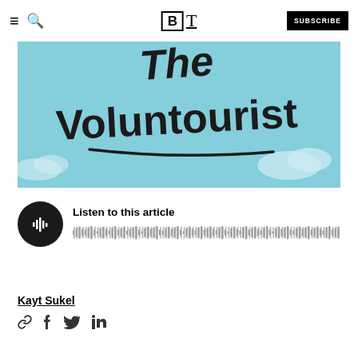BT — SUBSCRIBE
[Figure (photo): Book cover image showing handwritten text 'The Voluntourist' in black brush lettering on a light blue sky background with clouds and a hand-drawn underline]
[Figure (other): Audio player with dark circular play button showing waveform icon, label 'Listen to this article', and audio waveform visualization]
Kayt Sukel
[Figure (other): Social sharing icons: link/chain icon, Facebook f, Twitter bird, LinkedIn in]